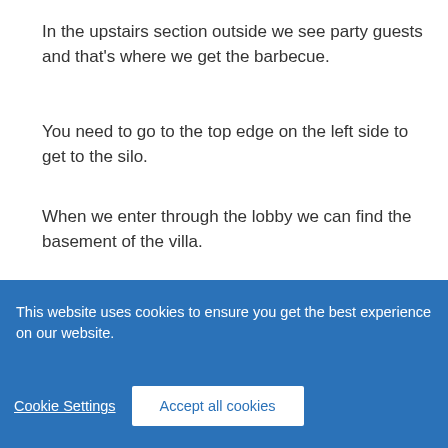In the upstairs section outside we see party guests and that's where we get the barbecue.
You need to go to the top edge on the left side to get to the silo.
When we enter through the lobby we can find the basement of the villa.
At the top of the map on the left side we get
This website uses cookies to ensure you get the best experience on our website.
Cookie Settings
Accept all cookies